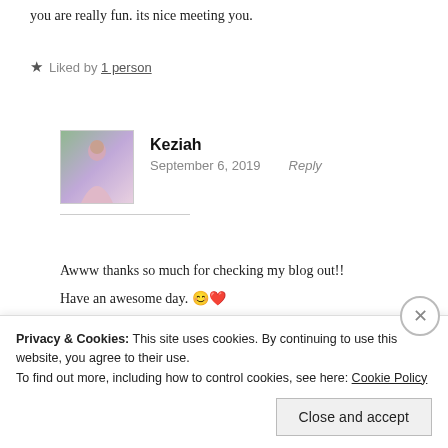you are really fun. its nice meeting you.
★ Liked by 1 person
Keziah
September 6, 2019    Reply
Awww thanks so much for checking my blog out!! Have an awesome day. 😊❤
Privacy & Cookies: This site uses cookies. By continuing to use this website, you agree to their use. To find out more, including how to control cookies, see here: Cookie Policy
Close and accept